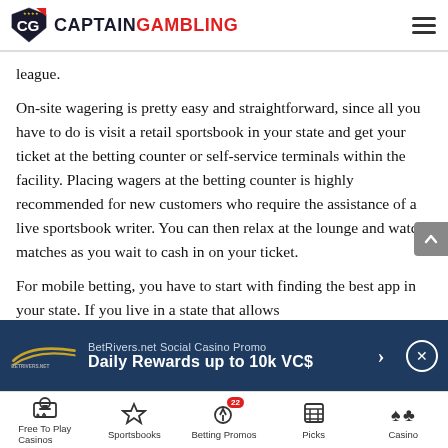CaptainGambling
league.
On-site wagering is pretty easy and straightforward, since all you have to do is visit a retail sportsbook in your state and get your ticket at the betting counter or self-service terminals within the facility. Placing wagers at the betting counter is highly recommended for new customers who require the assistance of a live sportsbook writer. You can then relax at the lounge and watch matches as you wait to cash in on your ticket.
For mobile betting, you have to start with finding the best app in your state. If you live in a state that allows
[Figure (screenshot): BetRivers.net Social Casino Promo advertisement banner: Daily Rewards up to 10k VC$]
Free To Play Casinos | Sportsbooks | Betting Promos (22) | Picks | Casino